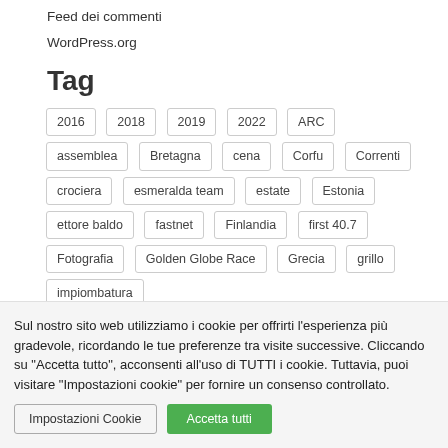Feed dei commenti
WordPress.org
Tag
2016
2018
2019
2022
ARC
assemblea
Bretagna
cena
Corfu
Correnti
crociera
esmeralda team
estate
Estonia
ettore baldo
fastnet
Finlandia
first 40.7
Fotografia
Golden Globe Race
Grecia
grillo
impiombatura
Sul nostro sito web utilizziamo i cookie per offrirti l'esperienza più gradevole, ricordando le tue preferenze tra visite successive. Cliccando su "Accetta tutto", acconsenti all'uso di TUTTI i cookie. Tuttavia, puoi visitare "Impostazioni cookie" per fornire un consenso controllato.
Impostazioni Cookie
Accetta tutti